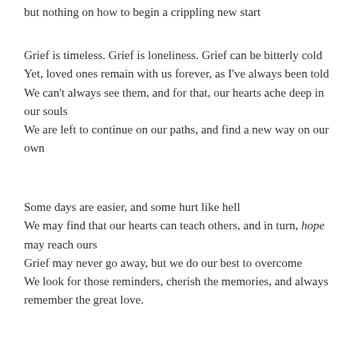but nothing on how to begin a crippling new start
Grief is timeless. Grief is loneliness. Grief can be bitterly cold
Yet, loved ones remain with us forever, as I've always been told
We can't always see them, and for that, our hearts ache deep in our souls
We are left to continue on our paths, and find a new way on our own
Some days are easier, and some hurt like hell
We may find that our hearts can teach others, and in turn, hope may reach ours
Grief may never go away, but we do our best to overcome
We look for those reminders, cherish the memories, and always remember the great love.